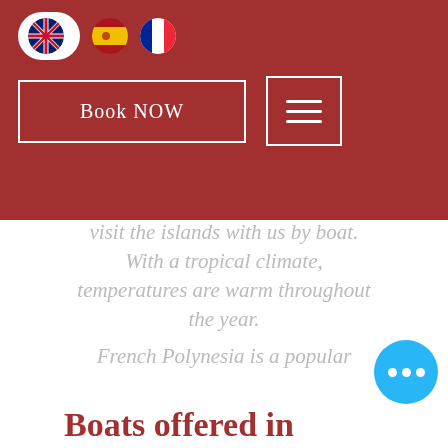[Figure (screenshot): Navigation bar with language selector (UK, Spain, France flags), Book NOW button, and hamburger menu on dark red background]
...ost away island Then visit the islands with us by boat. With a tropical climate, temperatures are warm throughout the year. French Polynesia is a popular vacation spot, particularly with honeymooners, offering a good combination of excitement, relaxation, beaches, nature and adventure.
Boats offered in